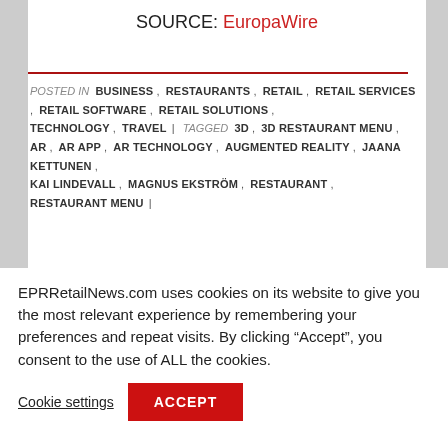SOURCE: EuropaWire
POSTED IN  BUSINESS ,  RESTAURANTS ,  RETAIL ,  RETAIL SERVICES ,  RETAIL SOFTWARE ,  RETAIL SOLUTIONS ,  TECHNOLOGY ,  TRAVEL  | TAGGED  3D ,  3D RESTAURANT MENU ,  AR ,  AR APP ,  AR TECHNOLOGY ,  AUGMENTED REALITY ,  JAANA KETTUNEN ,  KAI LINDEVALL ,  MAGNUS EKSTRÖM ,  RESTAURANT ,  RESTAURANT MENU  |
EPRRetailNews.com uses cookies on its website to give you the most relevant experience by remembering your preferences and repeat visits. By clicking “Accept”, you consent to the use of ALL the cookies.
Cookie settings
ACCEPT